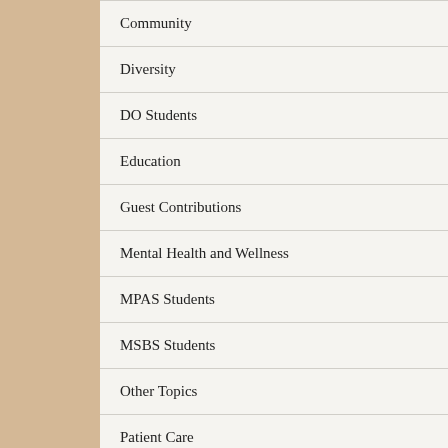Community
Diversity
DO Students
Education
Guest Contributions
Mental Health and Wellness
MPAS Students
MSBS Students
Other Topics
Patient Care
Research
RVU in the News